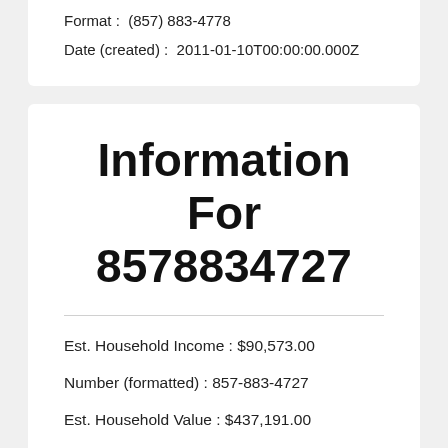Format: (857) 883-4778
Date (created):  2011-01-10T00:00:00.000Z
Information For 8578834727
Est. Household Income :  $90,573.00
Number (formatted) :  857-883-4727
Est. Household Value :  $437,191.00
Contact Phone Type :  mobile
Carrier :  CELLCO PARTNERSHIP DBA VERIZON